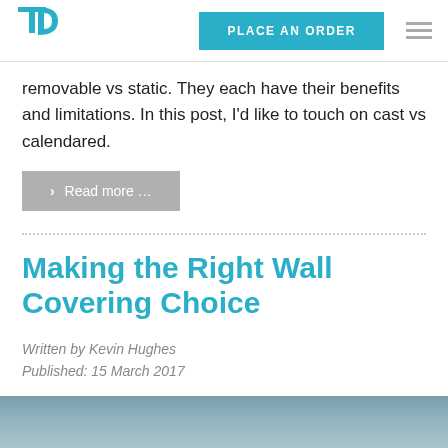PLACE AN ORDER
removable vs static. They each have their benefits and limitations. In this post, I’d like to touch on cast vs calendared.
❯ Read more …
Making the Right Wall Covering Choice
Written by Kevin Hughes
Published: 15 March 2017
[Figure (photo): Partial view of a wall covering or interior scene, cropped at bottom of page]